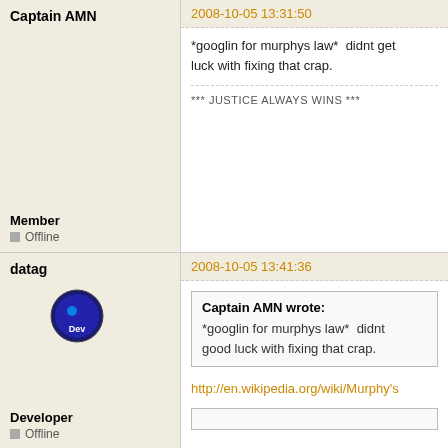Oh my god! I can't wait anymore!!!
But fixing those bugs is more import...
Member
Offline
Captain AMN
2008-10-05 13:31:50
*googlin for murphys law*  didnt get luck with fixing that crap.
Member
Offline
*** JUSTICE ALWAYS WINS ***
datag
2008-10-05 13:41:36
Captain AMN wrote:
*googlin for murphys law*  didnt good luck with fixing that crap.
Developer
Offline
http://en.wikipedia.org/wiki/Murphy's